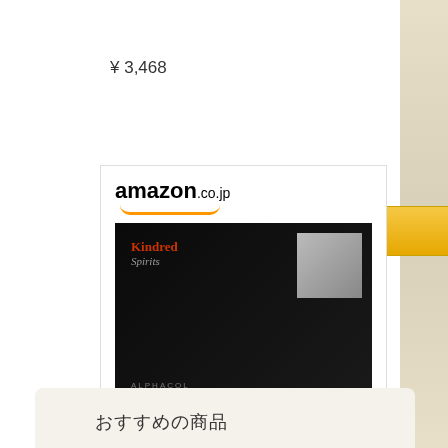¥ 3,468
[Figure (screenshot): Amazon buy button with golden background and Amazon logo]
[Figure (screenshot): Amazon.co.jp product card showing 'Kindred Spirits Guitar Arrange...' album with dark cover art, priced at ¥ 369 with buy button]
Kindred Spirits Guitar Arrange...
¥ 369
[Figure (screenshot): Amazon buy button with golden background and Amazon logo]
おすすめの商品